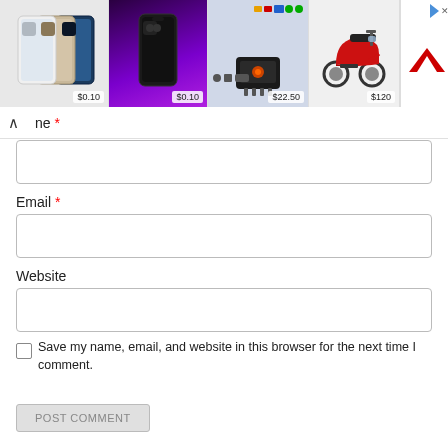[Figure (screenshot): Advertisement banner showing 4 product images: group of iPhones ($0.10), dark iPhone on purple background ($0.10), OBD device ($22.50), red scooter ($120), and a logo on the right side]
ne *
Email *
Website
Save my name, email, and website in this browser for the next time I comment.
POST COMMENT